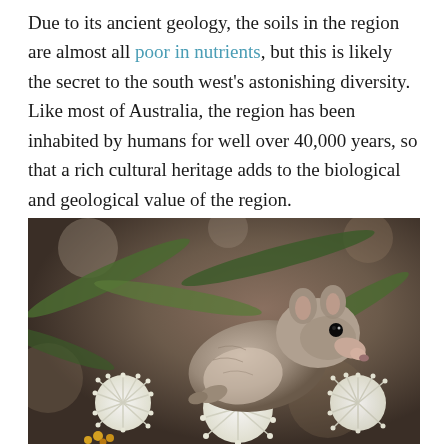Due to its ancient geology, the soils in the region are almost all poor in nutrients, but this is likely the secret to the south west's astonishing diversity. Like most of Australia, the region has been inhabited by humans for well over 40,000 years, so that a rich cultural heritage adds to the biological and geological value of the region.
[Figure (photo): A small marsupial (likely a dunnart or antechinus) perched among white bottlebrush or paperbark flowers, with green leaves in the background. The animal has grey-brown fur, a pointed snout, and a dark eye.]